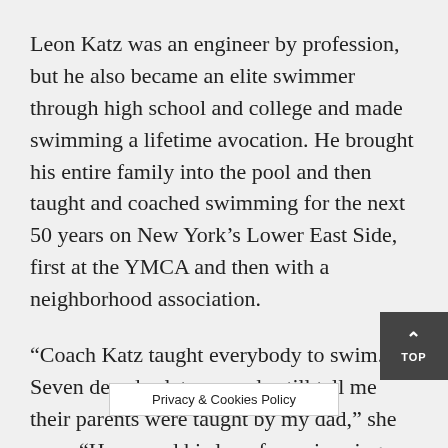Leon Katz was an engineer by profession, but he also became an elite swimmer through high school and college and made swimming a lifetime avocation. He brought his entire family into the pool and then taught and coached swimming for the next 50 years on New York’s Lower East Side, first at the YMCA and then with a neighborhood association.
“Coach Katz taught everybody to swim. Seven decades later, people still tell me their parents were taught by my dad,” she says. “He passed his love for swimming on to our whole family, and to me in parti…